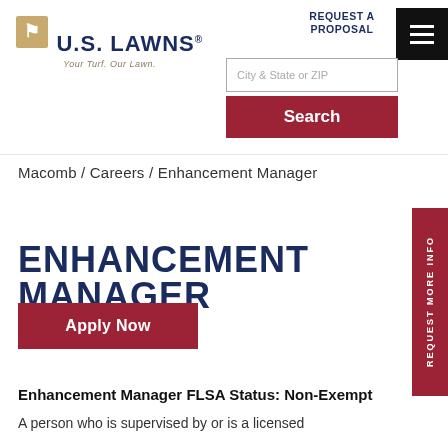[Figure (logo): U.S. Lawns logo with icon and tagline 'Your Turf. Our Lawn.']
REQUEST A PROPOSAL
[Figure (other): Hamburger menu icon (three horizontal white lines on black background)]
City & State or ZIP
Search
REQUEST MORE INFO
Macomb / Careers / Enhancement Manager
ENHANCEMENT MANAGER
Apply Now
Enhancement Manager FLSA Status: Non-Exempt
A person who is supervised by or is a licensed